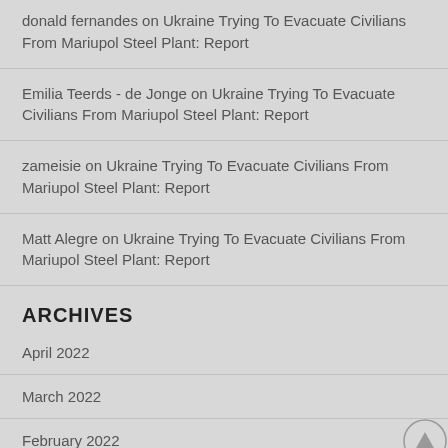donald fernandes on Ukraine Trying To Evacuate Civilians From Mariupol Steel Plant: Report
Emilia Teerds - de Jonge on Ukraine Trying To Evacuate Civilians From Mariupol Steel Plant: Report
zameisie on Ukraine Trying To Evacuate Civilians From Mariupol Steel Plant: Report
Matt Alegre on Ukraine Trying To Evacuate Civilians From Mariupol Steel Plant: Report
ARCHIVES
April 2022
March 2022
February 2022
January 2022